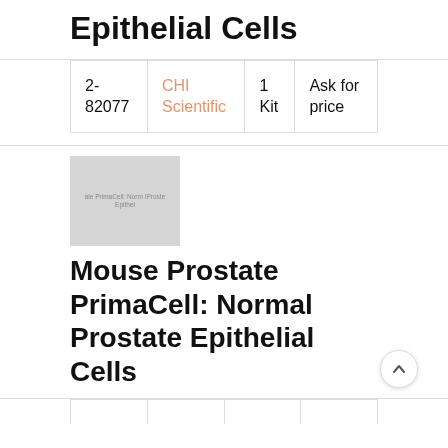Epithelial Cells
| 2-82077 | CHI Scientific | 1 Kit | Ask for price |
[Figure (photo): Thumbnail image of Mouse Prostate PrimaCell: Normal Prostate Epithelial Cells product, gray placeholder with small text overlay]
Mouse Prostate PrimaCell: Normal Prostate Epithelial Cells
|  | CHI... |  |  |